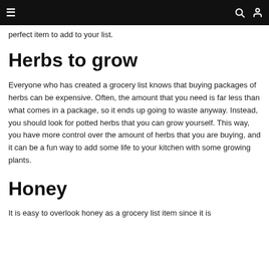☰  🔍  👤
perfect item to add to your list.
Herbs to grow
Everyone who has created a grocery list knows that buying packages of herbs can be expensive. Often, the amount that you need is far less than what comes in a package, so it ends up going to waste anyway. Instead, you should look for potted herbs that you can grow yourself. This way, you have more control over the amount of herbs that you are buying, and it can be a fun way to add some life to your kitchen with some growing plants.
Honey
It is easy to overlook honey as a grocery list item since it is